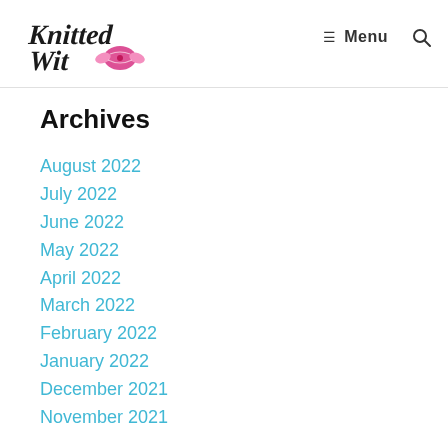Knitted Wit — Menu
Archives
August 2022
July 2022
June 2022
May 2022
April 2022
March 2022
February 2022
January 2022
December 2021
November 2021